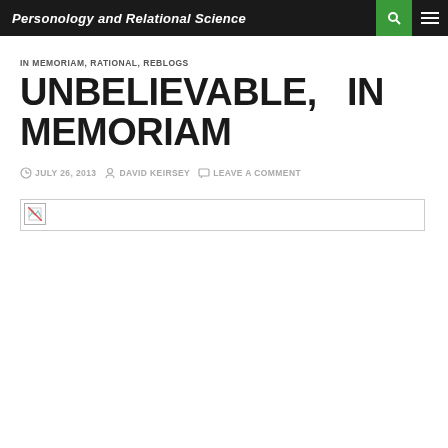Personology and Relational Science
IN MEMORIAM, RATIONAL, REBLOGS
UNBELIEVABLE, IN MEMORIAM
JULY 26, 2013  DAVID KEIRSEY  LEAVE A COMMENT
[Figure (photo): Broken image placeholder — a missing/unloaded image with a broken image icon in the top-left corner]